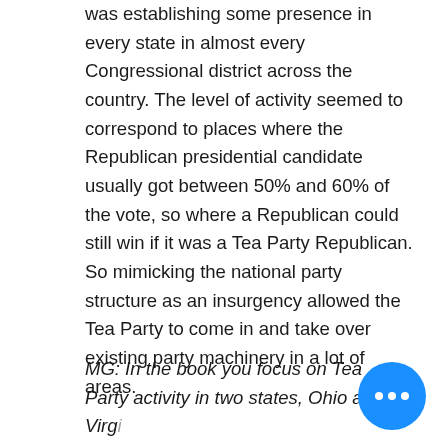was establishing some presence in every state in almost every Congressional district across the country. The level of activity seemed to correspond to places where the Republican presidential candidate usually got between 50% and 60% of the vote, so where a Republican could still win if it was a Tea Party Republican. So mimicking the national party structure as an insurgency allowed the Tea Party to come in and take over existing party machinery in a lot of areas.
MG: In the book you focus on Tea Party activity in two states, Ohio and Virg... Why did you choose those two st...